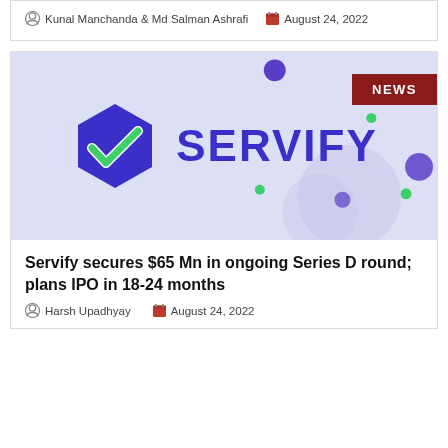Kunal Manchanda & Md Salman Ashrafi   August 24, 2022
[Figure (logo): Servify company logo with hexagonal purple icon containing a green and white checkmark, and 'SERVIFY' text in bold dark purple, on a light purple background with decorative dots and circular shapes. A red 'NEWS' badge in the top right corner.]
Servify secures $65 Mn in ongoing Series D round; plans IPO in 18-24 months
Harsh Upadhyay   August 24, 2022